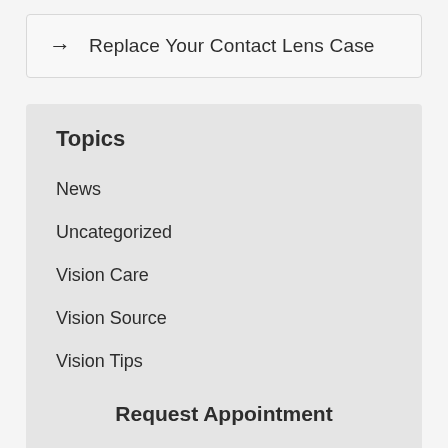→  Replace Your Contact Lens Case
Topics
News
Uncategorized
Vision Care
Vision Source
Vision Tips
Request Appointment